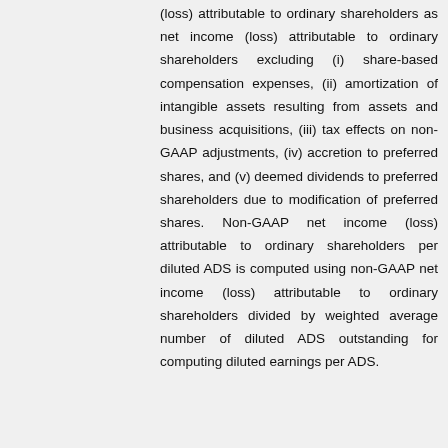(loss) attributable to ordinary shareholders as net income (loss) attributable to ordinary shareholders excluding (i) share-based compensation expenses, (ii) amortization of intangible assets resulting from assets and business acquisitions, (iii) tax effects on non-GAAP adjustments, (iv) accretion to preferred shares, and (v) deemed dividends to preferred shareholders due to modification of preferred shares. Non-GAAP net income (loss) attributable to ordinary shareholders per diluted ADS is computed using non-GAAP net income (loss) attributable to ordinary shareholders divided by weighted average number of diluted ADS outstanding for computing diluted earnings per ADS.